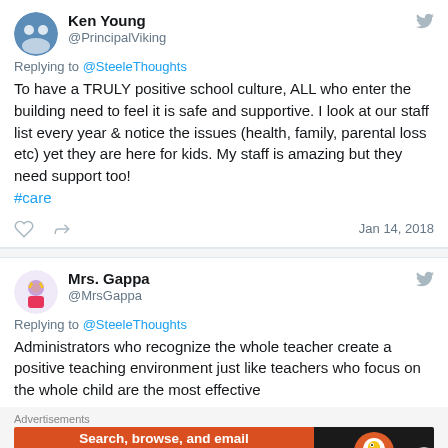[Figure (screenshot): Twitter screenshot showing two tweets. First tweet by Ken Young (@PrincipalViking) replying to @SteeleThoughts. Second tweet by Mrs. Gappa (@MrsGappa) replying to @SteeleThoughts. Below is a DuckDuckGo advertisement banner.]
Ken Young @PrincipalViking Replying to @SteeleThoughts To have a TRULY positive school culture, ALL who enter the building need to feel it is safe and supportive. I look at our staff list every year & notice the issues (health, family, parental loss etc) yet they are here for kids. My staff is amazing but they need support too! #care Jan 14, 2018
Mrs. Gappa @MrsGappa Replying to @SteeleThoughts Administrators who recognize the whole teacher create a positive teaching environment just like teachers who focus on the whole child are the most effective
Advertisements Search, browse, and email with more privacy. All in One Free App DuckDuckGo